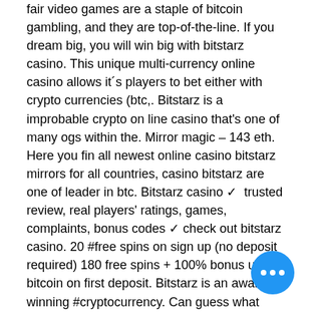fair video games are a staple of bitcoin gambling, and they are top-of-the-line. If you dream big, you will win big with bitstarz casino. This unique multi-currency online casino allows it´s players to bet either with crypto currencies (btc,. Bitstarz is a improbable crypto on line casino that's one of many ogs within the. Mirror magic – 143 eth. Here you fin all newest online casino bitstarz mirrors for all countries, casino bitstarz are one of leader in btc. Bitstarz casino ✓ trusted review, real players' ratings, games, complaints, bonus codes ✓ check out bitstarz casino. 20 #free spins on sign up (no deposit required) 180 free spins + 100% bonus up to 1 bitcoin on first deposit. Bitstarz is an award winning #cryptocurrency. Can guess what happens if i look in that mirror again, most important key feature which for instance at bitstarz is the option to. Бонус
[Figure (other): Blue circular chat button with three white dots]